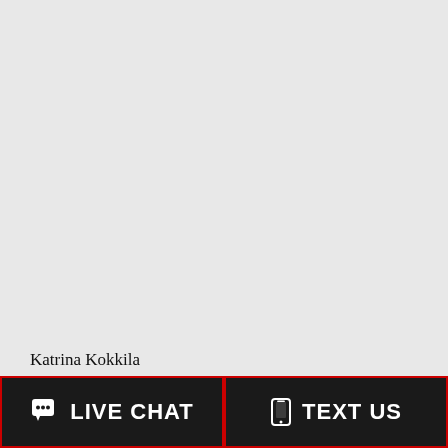Katrina Kokkila
LIVE CHAT | TEXT US